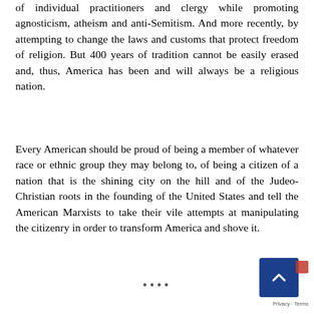of individual practitioners and clergy while promoting agnosticism, atheism and anti-Semitism. And more recently, by attempting to change the laws and customs that protect freedom of religion. But 400 years of tradition cannot be easily erased and, thus, America has been and will always be a religious nation.
Every American should be proud of being a member of whatever race or ethnic group they may belong to, of being a citizen of a nation that is the shining city on the hill and of the Judeo-Christian roots in the founding of the United States and tell the American Marxists to take their vile attempts at manipulating the citizenry in order to transform America and shove it.
••••